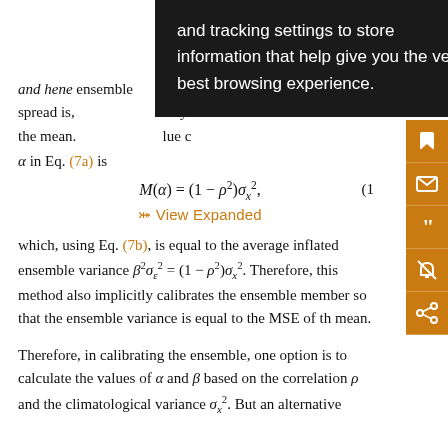and tracking settings to store information that help give you the very best browsing experience.
The second ... ensemble spread is, ... nty the mean. ... lue c
α in Eq. (7a) is
View Expanded
which, using Eq. (7b), is equal to the average inflated ensemble variance β²σε² = (1 − ρ²)σx². Therefore, this method also implicitly calibrates the ensemble member so that the ensemble variance is equal to the MSE of the mean.
Therefore, in calibrating the ensemble, one option is to calculate the values of α and β based on the correlation ρ and the climatological variance σx². But an alternative